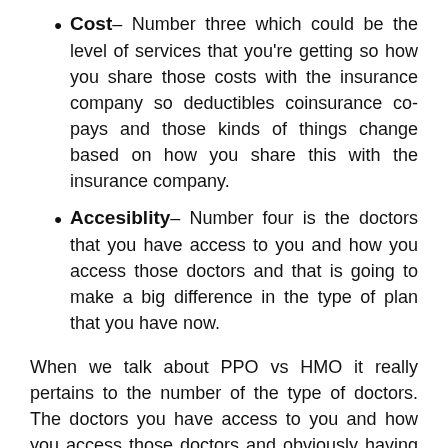Cost– Number three which could be the level of services that you're getting so how you share those costs with the insurance company so deductibles coinsurance co-pays and those kinds of things change based on how you share this with the insurance company.
Accesiblity– Number four is the doctors that you have access to you and how you access those doctors and that is going to make a big difference in the type of plan that you have now.
When we talk about PPO vs HMO it really pertains to the number of the type of doctors. The doctors you have access to you and how you access those doctors and obviously having an HMO or having a